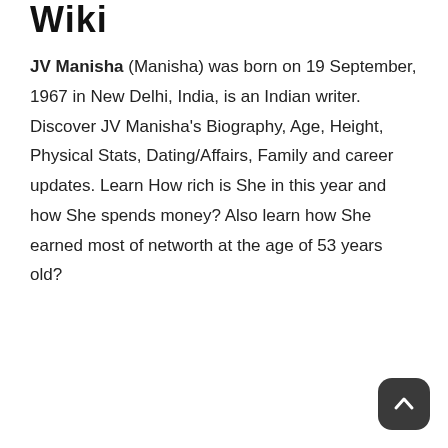Wiki
JV Manisha (Manisha) was born on 19 September, 1967 in New Delhi, India, is an Indian writer. Discover JV Manisha's Biography, Age, Height, Physical Stats, Dating/Affairs, Family and career updates. Learn How rich is She in this year and how She spends money? Also learn how She earned most of networth at the age of 53 years old?